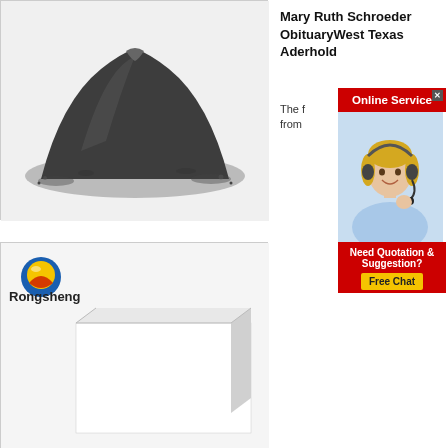[Figure (photo): Pile of dark gray/black powder material on white background]
[Figure (photo): White rectangular block/brick product with Rongsheng logo and branding in top left corner]
Mary Ruth Schroeder ObituaryWest Texas Aderhold
The f... from
[Figure (infographic): Online Service advertisement popup with red header bar, close button, blonde female customer service agent with headset, red bottom bar reading Need Quotation & Suggestion?, and yellow Free Chat button]